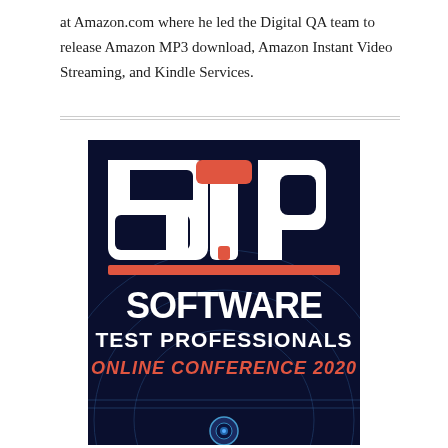at Amazon.com where he led the Digital QA team to release Amazon MP3 download, Amazon Instant Video Streaming, and Kindle Services.
[Figure (logo): STP Software Test Professionals Online Conference 2020 logo on dark navy background with red and white STP letters and orange/red italic text reading ONLINE CONFERENCE 2020]